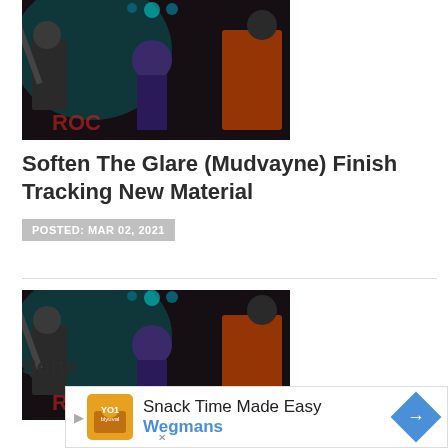[Figure (photo): Band performing on stage with colorful lighting, two guitarists visible with orange and teal hues, dark background with graffiti-style text]
Soften The Glare (Mudvayne) Finish Tracking New Material
POSTED: MAR 02, 2021
[Figure (photo): Same band performing on stage, similar shot with two guitarists, orange and teal lighting, dark graffiti background]
Softe
Snack Time Made Easy
Wegmans